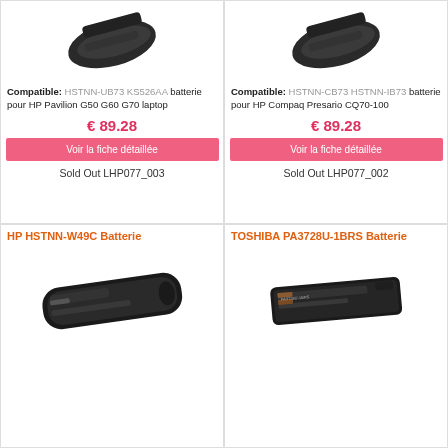[Figure (photo): HP laptop battery product image - top left card]
Compatible: HSTNN-UB73 KS526AA batterie pour HP Pavilion G50 G60 G70 laptop
€ 89.28
Voir la fiche détaillée
Sold Out LHP077_003
[Figure (photo): HP laptop battery product image - top right card]
Compatible: HSTNN-CB73 HSTNN-IB73 batterie pour HP Compaq Presario CQ70-100
€ 89.28
Voir la fiche détaillée
Sold Out LHP077_002
HP HSTNN-W49C Batterie
[Figure (photo): HP HSTNN-W49C battery product image]
TOSHIBA PA3728U-1BRS Batterie
[Figure (photo): Toshiba PA3728U-1BRS battery product image]